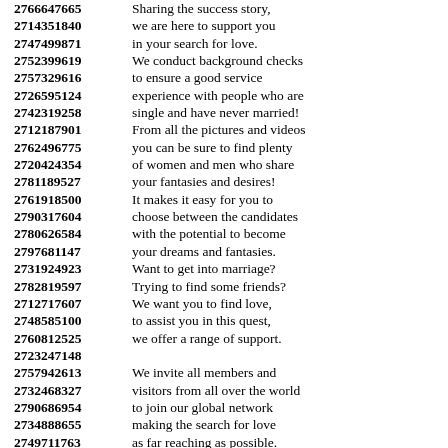2766647665 Sharing the success story,
2714351840 we are here to support you
2747499871 in your search for love.
2752399619 We conduct background checks
2757329616 to ensure a good service
2726595124 experience with people who are
2742319258 single and have never married!
2712187901 From all the pictures and videos
2762496775 you can be sure to find plenty
2720424354 of women and men who share
2781189527 your fantasies and desires!
2761918500 It makes it easy for you to
2790317604 choose between the candidates
2780626584 with the potential to become
2797681147 your dreams and fantasies.
2731924923 Want to get into marriage?
2782819597 Trying to find some friends?
2712717607 We want you to find love,
2748585100 to assist you in this quest,
2760812525 we offer a range of support.
2723247148
2757942613 We invite all members and
2732468327 visitors from all over the world
2790686954 to join our global network
2734888655 making the search for love
2749711763 as far reaching as possible.